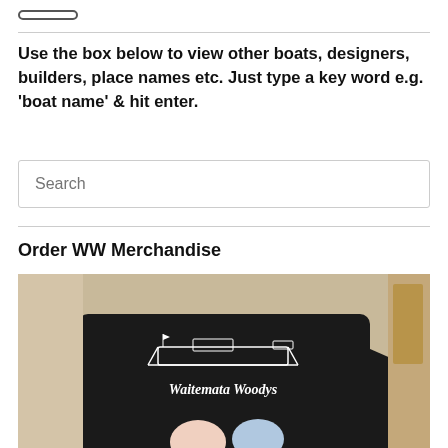[Figure (other): Pill-shaped button at top of page]
Use the box below to view other boats, designers, builders, place names etc. Just type a key word e.g. 'boat name' & hit enter.
[Figure (other): Search input box with placeholder text 'Search']
Order WW Merchandise
[Figure (photo): Person wearing a black long-sleeve shirt with 'Waitemata Woodys' logo and a boat graphic, holding a baby in a light blue hat]